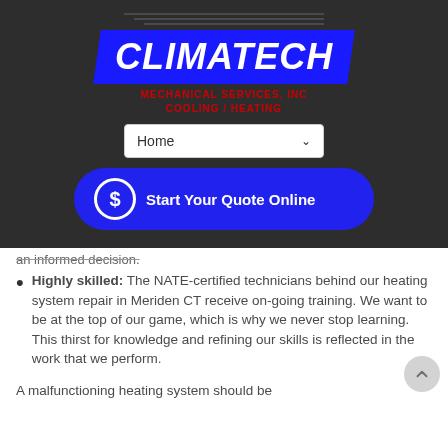[Figure (logo): Climatech Mechanical Services Inc. logo with blue parallelogram background, white italic bold text CLIMATECH, red subtitle MECHANICAL SERVICES, INC COOLING / HEATING]
Home
Start Your Quote Online
an informed decision.
Highly skilled: The NATE-certified technicians behind our heating system repair in Meriden CT receive on-going training. We want to be at the top of our game, which is why we never stop learning. This thirst for knowledge and refining our skills is reflected in the work that we perform.
A malfunctioning heating system should be